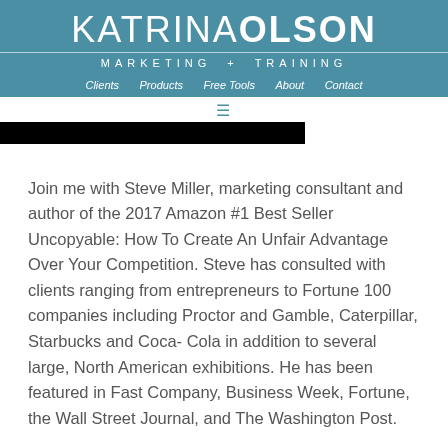KATRINA OLSON MARKETING + TRAINING
Clients   Products   Free Tools   About   Contact
[Figure (screenshot): Black rectangular image block partially visible]
Join me with Steve Miller, marketing consultant and author of the 2017 Amazon #1 Best Seller Uncopyable: How To Create An Unfair Advantage Over Your Competition. Steve has consulted with clients ranging from entrepreneurs to Fortune 100 companies including Proctor and Gamble, Caterpillar, Starbucks and Coca- Cola in addition to several large, North American exhibitions. He has been featured in Fast Company, Business Week, Fortune, the Wall Street Journal, and The Washington Post.